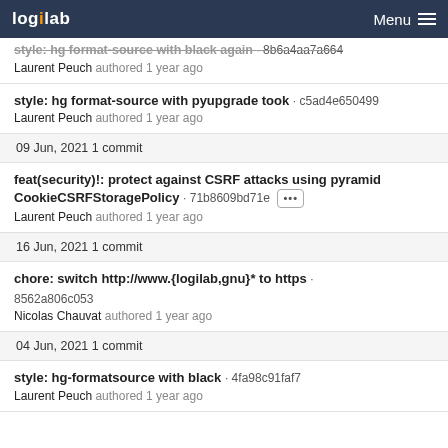logilab Menu
style: hg format-source with black again · 8b6a4aa7a664
Laurent Peuch authored 1 year ago
style: hg format-source with pyupgrade took · c5ad4e650499
Laurent Peuch authored 1 year ago
09 Jun, 2021 1 commit
feat(security)!: protect against CSRF attacks using pyramid CookieCSRFStoragePolicy · 71b8609bd71e ···
Laurent Peuch authored 1 year ago
16 Jun, 2021 1 commit
chore: switch http://www.{logilab,gnu}* to https · 8562a806c053
Nicolas Chauvat authored 1 year ago
04 Jun, 2021 1 commit
style: hg-formatsource with black · 4fa98c91faf7
Laurent Peuch authored 1 year ago